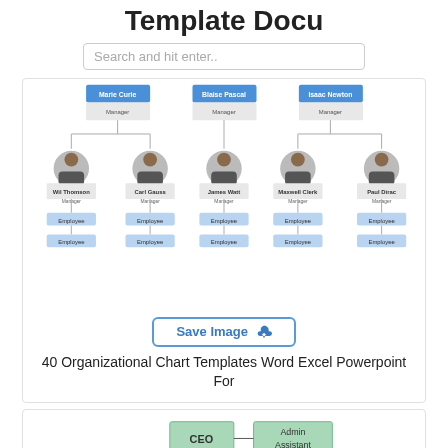Template Docu
Search and hit enter..
[Figure (organizational-chart): Organizational chart showing managers Marie Curie, Blaise Pascal, Isaac Newton at top level, each with subordinate managers (Wil Thomson, Carl Gauss, James Watt, Maxwell Clerk, Paul Dirac), each with two Employee boxes below]
Save Image
40 Organizational Chart Templates Word Excel Powerpoint For
[Figure (organizational-chart): Organizational chart with CEO and Admin Assistant boxes at top connected horizontally, COO box below CEO, and additional nodes below COO]